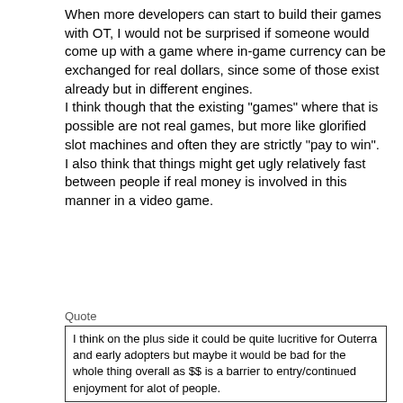When more developers can start to build their games with OT, I would not be surprised if someone would come up with a game where in-game currency can be exchanged for real dollars, since some of those exist already but in different engines.
I think though that the existing "games" where that is possible are not real games, but more like glorified slot machines and often they are strictly "pay to win". I also think that things might get ugly relatively fast between people if real money is involved in this manner in a video game.
Quote
I think on the plus side it could be quite lucritive for Outerra and early adopters but maybe it would be bad for the whole thing overall as $$ is a barrier to entry/continued enjoyment for alot of people.
You have a point there imo, (edit begin) especially if basic things like a "good" gun or ammunition are overly expensive (edit end)
and I hope that "Anteworld's" in game economics won't be developed into this direction.
Title: Re: The Game
Post by: [deleted] on March 05, 2012, 11:05:57 am
You want to make anteworld like tf2 ? You know a lot of people got disappointed about the shop, the trading, the scammers, the hat-mania ? It's going to fail. I bought tf2 years ago, and I don't play it anymore from the hat mania beginning. It's a shame.